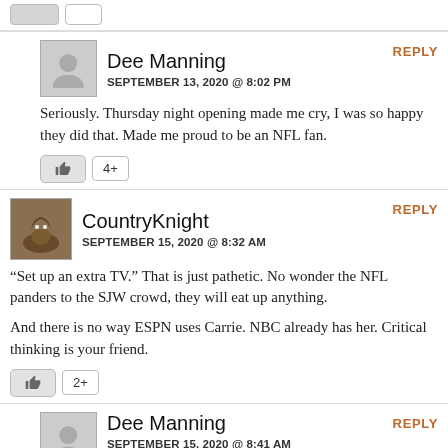[Figure (other): Top partial row with two small buttons/icons, cut off at top]
Dee Manning
SEPTEMBER 13, 2020 @ 8:02 PM
Seriously. Thursday night opening made me cry, I was so happy they did that. Made me proud to be an NFL fan.
4+
CountryKnight
SEPTEMBER 15, 2020 @ 8:32 AM
“Set up an extra TV.” That is just pathetic. No wonder the NFL panders to the SJW crowd, they will eat up anything.
And there is no way ESPN uses Carrie. NBC already has her. Critical thinking is your friend.
2+
Dee Manning
SEPTEMBER 15, 2020 @ 8:41 AM